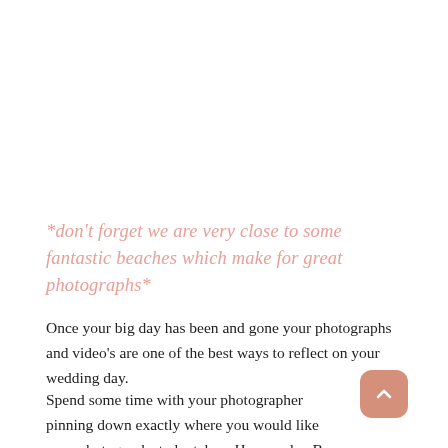*don't forget we are very close to some fantastic beaches which make for great photographs*
Once your big day has been and gone your photographs and video's are one of the best ways to reflect on your wedding day.
Spend some time with your photographer pinning down exactly where you would like your photographs to be taken. Have a plan B